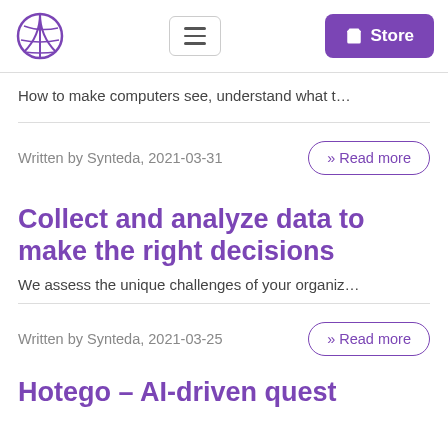Synteda logo, navigation menu, Store button
How to make computers see, understand what t…
Written by Synteda, 2021-03-31
» Read more
Collect and analyze data to make the right decisions
We assess the unique challenges of your organiz…
Written by Synteda, 2021-03-25
» Read more
Hotego – AI-driven quest